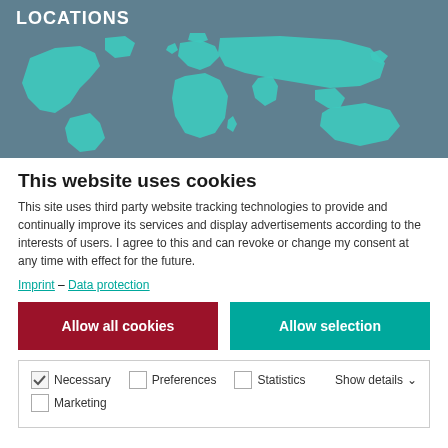[Figure (map): World map silhouette in teal/turquoise on a slate-blue background, with 'LOCATIONS' header]
This website uses cookies
This site uses third party website tracking technologies to provide and continually improve its services and display advertisements according to the interests of users. I agree to this and can revoke or change my consent at any time with effect for the future.
Imprint – Data protection
Allow all cookies | Allow selection
Necessary  Preferences  Statistics  Show details  Marketing